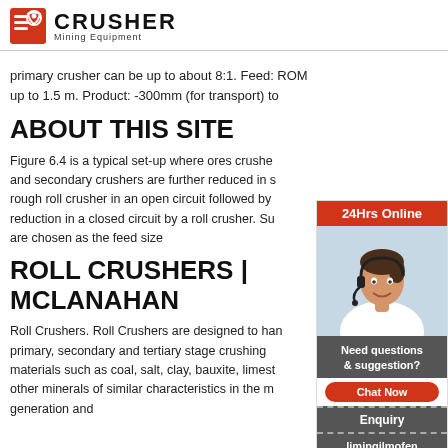CRUSHER Mining Equipment
primary crusher can be up to about 8:1. Feed: ROM up to 1.5 m. Product: -300mm (for transport) to
ABOUT THIS SITE
Figure 6.4 is a typical set-up where ores crushe and secondary crushers are further reduced in s rough roll crusher in an open circuit followed by reduction in a closed circuit by a roll crusher. Su are chosen as the feed size
ROLL CRUSHERS | MCLANAHAN
Roll Crushers. Roll Crushers are designed to han primary, secondary and tertiary stage crushing materials such as coal, salt, clay, bauxite, limest other minerals of similar characteristics in the m generation and
[Figure (photo): Customer service representative wearing headset, smiling. Sidebar with 24Hrs Online header, Need questions & suggestion text, Chat Now button, Enquiry section, limingjlmofen@sina.com email.]